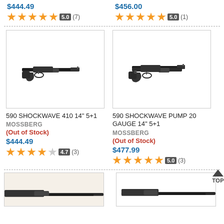$444.49
[Figure (infographic): 5 orange stars rating with badge 5.0 and (7) review count]
$456.00
[Figure (infographic): 5 orange stars rating with badge 5.0 and (1) review count]
[Figure (photo): 590 Shockwave 410 14 inch pump shotgun, dark/black finish, no stock, bird's head grip]
590 SHOCKWAVE 410 14" 5+1
MOSSBERG
(Out of Stock)
$444.49
[Figure (infographic): 4.7 stars (4 full orange, 1 partial) with badge 4.7 and (3) review count]
[Figure (photo): 590 Shockwave Pump 20 Gauge 14 inch shotgun, dark/black finish, bird's head grip]
590 SHOCKWAVE PUMP 20 GAUGE 14" 5+1
MOSSBERG
(Out of Stock)
$477.99
[Figure (infographic): 5 orange stars rating with badge 5.0 and (3) review count]
[Figure (photo): Partial view of a shotgun image at bottom left, orange tinted]
[Figure (photo): Partial view of a shotgun image at bottom right]
TOP